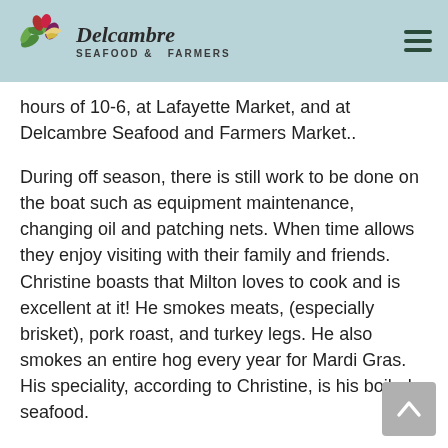Delcambre Seafood & Farmers
hours of 10-6, at Lafayette Market, and at Delcambre Seafood and Farmers Market..
During off season, there is still work to be done on the boat such as equipment maintenance, changing oil and patching nets. When time allows they enjoy visiting with their family and friends. Christine boasts that Milton loves to cook and is excellent at it! He smokes meats, (especially brisket), pork roast, and turkey legs. He also smokes an entire hog every year for Mardi Gras. His speciality, according to Christine, is his boiled seafood.
Milton and Christine are truly passionate about Jessica Gail Seafood and providing